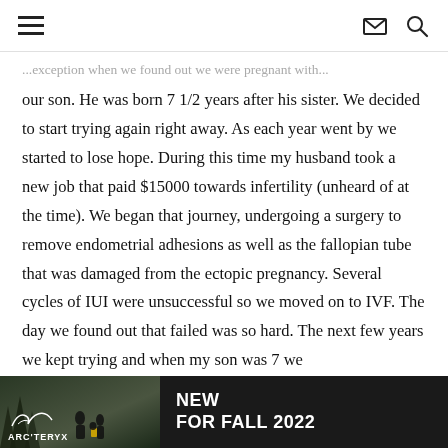Navigation header with hamburger menu, mail icon, and search icon
...exception when we found out we were pregnant with our son. He was born 7 1/2 years after his sister. We decided to start trying again right away. As each year went by we started to lose hope. During this time my husband took a new job that paid $15000 towards infertility (unheard of at the time). We began that journey, undergoing a surgery to remove endometrial adhesions as well as the fallopian tube that was damaged from the ectopic pregnancy. Several cycles of IUI were unsuccessful so we moved on to IVF. The day we found out that failed was so hard. The next few years we kept trying and when my son was 7 we
[Figure (photo): Arc'teryx advertisement banner with dark forest photo background, Arc'teryx bird logo and brand name in white, text 'NEW FOR FALL 2022' in bold white on dark background]